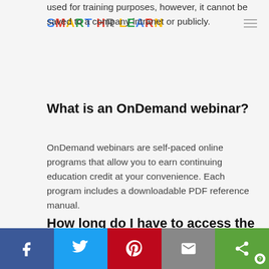SMART HR LEARN
used for training purposes, however, it cannot be saved to a company intranet or publicly.
What is an OnDemand webinar?
OnDemand webinars are self-paced online programs that allow you to earn continuing education credit at your convenience. Each program includes a downloadable PDF reference manual.
How long do I have to access the program?
Social share bar: Facebook, Twitter, Pinterest, Email, Share